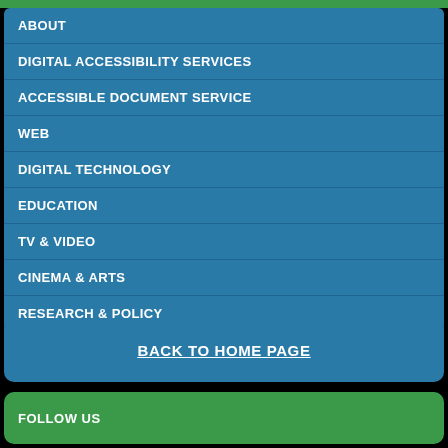ABOUT
DIGITAL ACCESSIBILITY SERVICES
ACCESSIBLE DOCUMENT SERVICE
WEB
DIGITAL TECHNOLOGY
EDUCATION
TV & VIDEO
CINEMA & ARTS
RESEARCH & POLICY
BACK TO HOME PAGE
FOLLOW US